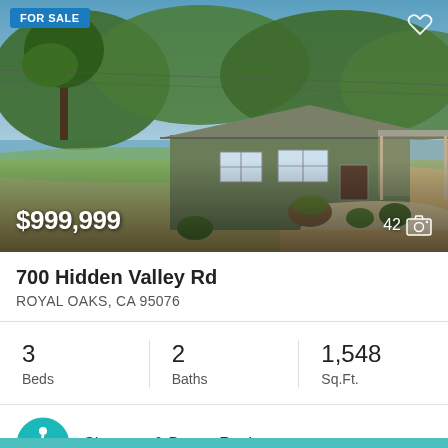[Figure (photo): Exterior photo of a single-story ranch-style house with green siding, carport, front lawn, and trees in the background. Blue sky visible. Price overlay shows $999,999 and photo count 42.]
700 Hidden Valley Rd
ROYAL OAKS, CA 95076
3 Beds   2 Baths   1,548 Sq.Ft.
Sherman & Boone Realtors